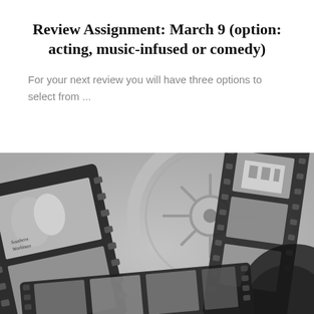Review Assignment: March 9 (option: acting, music-infused or comedy)
For your next review you will have three options to select from ...
[Figure (photo): Black and white photograph of curled film strips with movie frames visible, including one frame showing what appears to be a romantic movie scene with text 'Southern Workman']